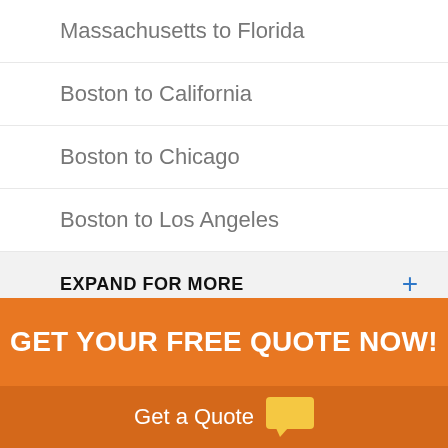Massachusetts to Florida
Boston to California
Boston to Chicago
Boston to Los Angeles
EXPAND FOR MORE +
GET YOUR FREE QUOTE NOW!
Get a Quote